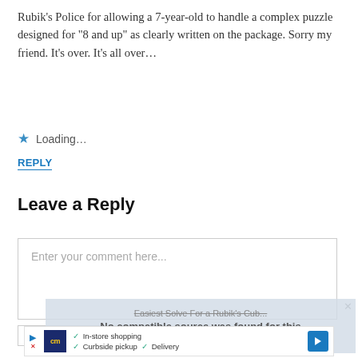Rubik's Police for allowing a 7-year-old to handle a complex puzzle designed for “8 and up” as clearly written on the package. Sorry my friend. It’s over. It’s all over…
Loading…
REPLY
Leave a Reply
Enter your comment here...
[Figure (screenshot): Video player overlay showing 'Easiest Solve For a Rubik’s Cub...' with message 'No compatible source was found for this media.' and a close button.]
[Figure (screenshot): Advertisement banner with cm logo, checkmarks for In-store shopping, Curbside pickup, Delivery, and a blue navigation arrow icon.]